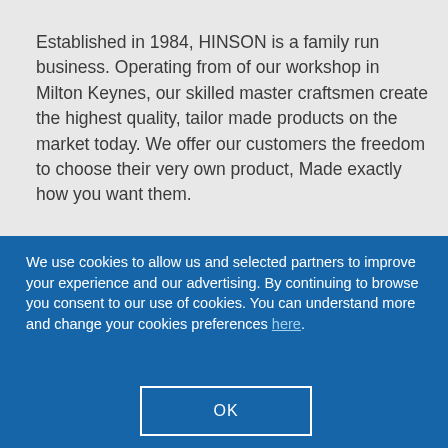Established in 1984, HINSON is a family run business. Operating from of our workshop in Milton Keynes, our skilled master craftsmen create the highest quality, tailor made products on the market today. We offer our customers the freedom to choose their very own product, Made exactly how you want them.
We use cookies to allow us and selected partners to improve your experience and our advertising. By continuing to browse you consent to our use of cookies. You can understand more and change your cookies preferences here.